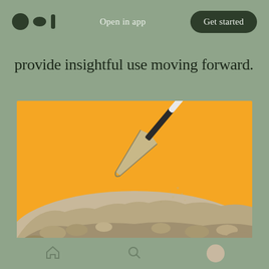Open in app  Get started
provide insightful use moving forward.
[Figure (photo): A garden trowel or small shovel being pushed into a pile of sandy/gravelly soil against a bright orange background. The handle is black and white, the blade is metallic. Sand particles are visible flying in the air.]